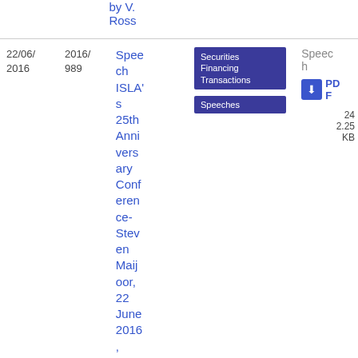| Date | Ref | Title | Tags | Actions |
| --- | --- | --- | --- | --- |
|  |  | by V. Ross |  |  |
| 22/06/2016 | 2016/989 | Speech ISLA's 25th Anniversary Conference- Steven Maijoor, 22 June 2016,  Vien... | Securities Financing Transactions, Speeches | PDF 24 2.25 KB |